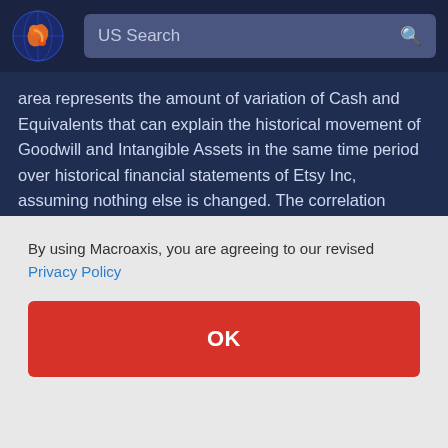US Search
area represents the amount of variation of Cash and Equivalents that can explain the historical movement of Goodwill and Intangible Assets in the same time period over historical financial statements of Etsy Inc, assuming nothing else is changed. The correlation between historical values of Etsy's Cash and Equivalents and
By using Macroaxis, you are agreeing to our revised Privacy Policy
OK
(0) is possible when Goodwill and Intangible Assets has no effect on the direction of Cash and Equivalents...